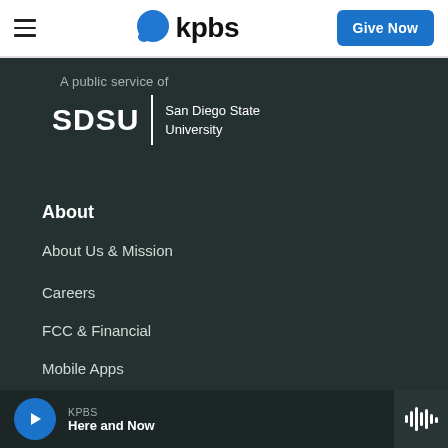KPBS navigation header with hamburger menu, KPBS logo, and Give Now button
[Figure (logo): KPBS logo with blue speech bubble and bold black 'kpbs' text]
A public service of
[Figure (logo): SDSU | San Diego State University logo in white text on dark background]
About
About Us & Mission
Careers
FCC & Financial
Mobile Apps
Press Releases
KPBS Here and Now audio player bar